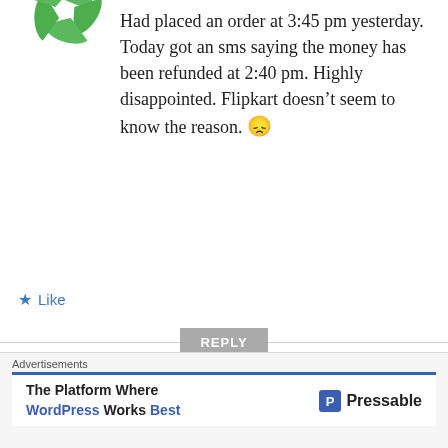[Figure (logo): Green pinwheel/Flipkart-style logo at top left, partially cropped]
Had placed an order at 3:45 pm yesterday. Today got an sms saying the money has been refunded at 2:40 pm. Highly disappointed. Flipkart doesn't seem to know the reason. 😕
★ Like
REPLY
[Figure (illustration): Gray Wordpress/avatar placeholder icon for user Basavaraj patil]
Basavaraj patil
JUNE 8, 2014 AT 6:09 PM
Advertisements
The Platform Where WordPress Works Best  Pressable